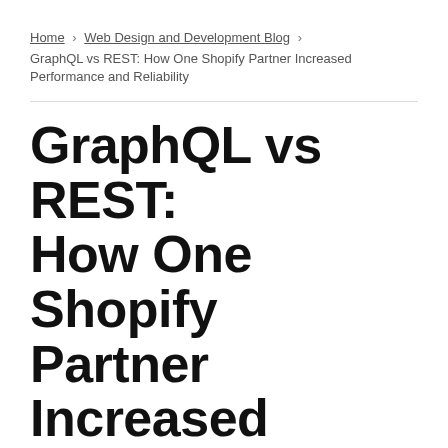Home > Web Design and Development Blog > GraphQL vs REST: How One Shopify Partner Increased Performance and Reliability
GraphQL vs REST: How One Shopify Partner Increased Performance and Reliability
by Adam Rogers · Shopify App Development
Jun. 11, 2019 · 9 minute read · Leave a comment